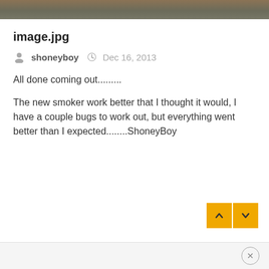[Figure (photo): Partial photo visible at top of page, outdoor scene]
image.jpg
shoneyboy  Dec 16, 2013
All done coming out.........
The new smoker work better that I thought it would, I have a couple bugs to work out, but everything went better than I expected........ShoneyBoy